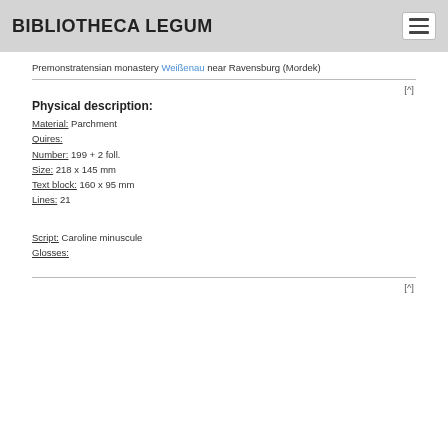BIBLIOTHECA LEGUM
Premonstratensian monastery Weißenau near Ravensburg (Mordek)
[^]
Physical description:
Material: Parchment
Quires:
Number: 199 + 2 foll.
Size: 218 x 145 mm
Text block: 160 x 95 mm
Lines: 21
Script: Caroline minuscule
Glosses:
[^]